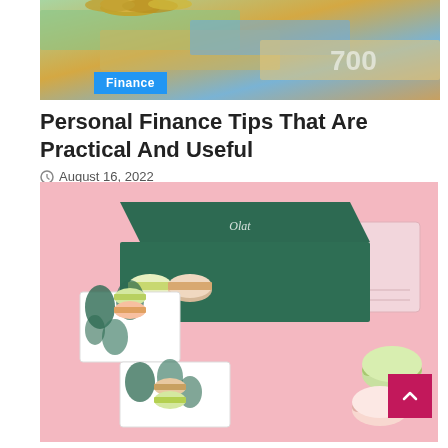[Figure (photo): Photo of stacked coins and colorful currency banknotes with a blue Finance badge overlay]
Personal Finance Tips That Are Practical And Useful
August 16, 2022
[Figure (photo): Photo of pastel macaron boxes with tropical leaf pattern packaging on a pink background, with Business and Food badges]
Business Food